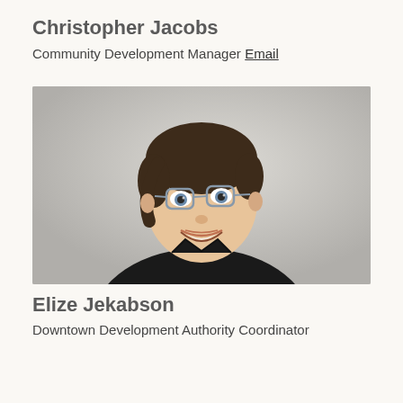Christopher Jacobs
Community Development Manager
Email
[Figure (photo): Headshot photo of Elize Jekabson, a woman with short brown hair and glasses, smiling, wearing a black shirt, photographed against a light gray background.]
Elize Jekabson
Downtown Development Authority Coordinator